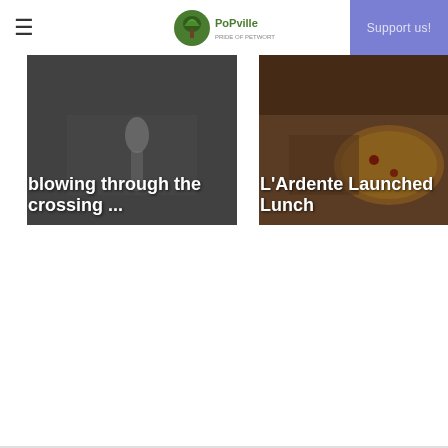PoPville - Pride of Petworth (logo) | Support us!
[Figure (photo): Dark/blurred street crossing photo with white bold text overlay reading 'blowing through the crossing ...']
[Figure (photo): Photo of pizza/food on wooden board with white bold text overlay reading 'L’Ardente Launched Lunch']